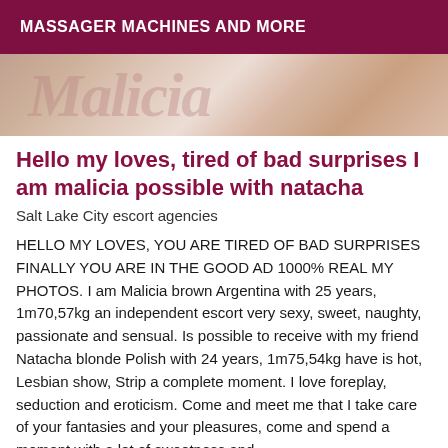MASSAGER MACHINES AND MORE
[Figure (photo): Close-up photo showing cursive text watermark 'Malicia' in pink/rose tones on a light background with skin tones visible]
Hello my loves, tired of bad surprises I am malicia possible with natacha
Salt Lake City escort agencies
HELLO MY LOVES, YOU ARE TIRED OF BAD SURPRISES FINALLY YOU ARE IN THE GOOD AD 1000% REAL MY PHOTOS. I am Malicia brown Argentina with 25 years, 1m70,57kg an independent escort very sexy, sweet, naughty, passionate and sensual. Is possible to receive with my friend Natacha blonde Polish with 24 years, 1m75,54kg have is hot, Lesbian show, Strip a complete moment. I love foreplay, seduction and eroticism. Come and meet me that I take care of your fantasies and your pleasures, come and spend a moment with a lot of sweetness and